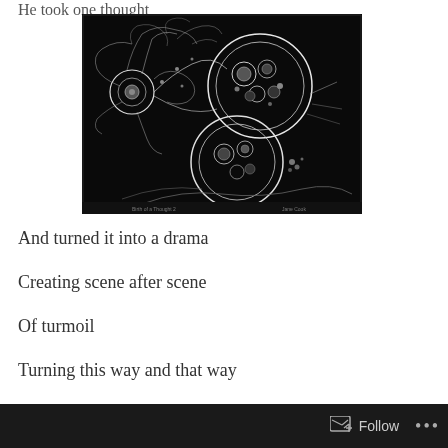He took one thought
[Figure (illustration): Black and white etching/print showing abstract cellular or neuronal forms — bright white intricate network lines on black background, with two large circular organic shapes resembling cells with complex internal structure, and a smaller circular form connected by branching filaments.]
And turned it into a drama
Creating scene after scene
Of turmoil
Turning this way and that way
Follow ...